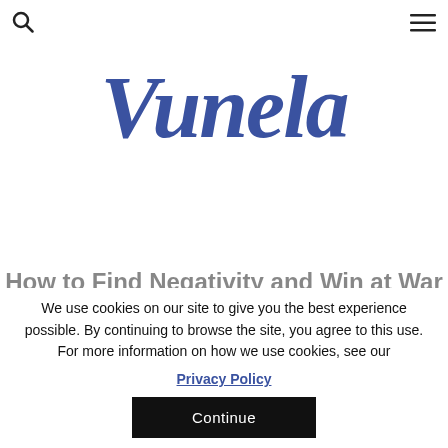🔍  ≡
[Figure (logo): Vunela logo in cursive dark blue italic font]
We use cookies on our site to give you the best experience possible. By continuing to browse the site, you agree to this use. For more information on how we use cookies, see our
Privacy Policy
Continue